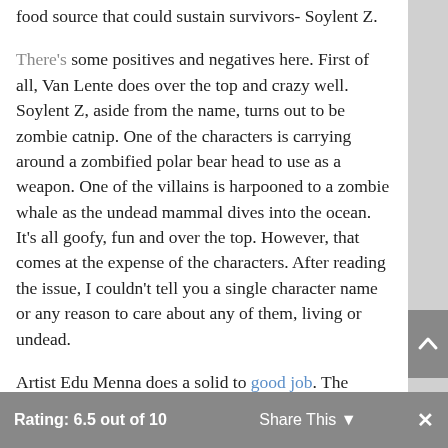food source that could sustain survivors- Soylent Z.
There's some positives and negatives here. First of all, Van Lente does over the top and crazy well. Soylent Z, aside from the name, turns out to be zombie catnip. One of the characters is carrying around a zombified polar bear head to use as a weapon. One of the villains is harpooned to a zombie whale as the undead mammal dives into the ocean. It’s all goofy, fun and over the top. However, that comes at the expense of the characters. After reading the issue, I couldn’t tell you a single character name or any reason to care about any of them, living or undead.
Artist Edu Menna does a solid to good job. The characters look a little samey, but the action is done well, and the zombies are appropriate grotesque.
Rating: 6.5 out of 10   Share This   ×